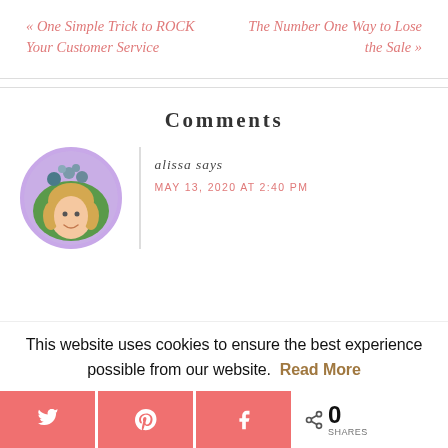« One Simple Trick to ROCK Your Customer Service
The Number One Way to Lose the Sale »
Comments
alissa says
MAY 13, 2020 AT 2:40 PM
[Figure (photo): Circular avatar photo of a smiling woman with flowers/plants, purple circle border]
This website uses cookies to ensure the best experience possible from our website.  Read More
[Figure (other): Social share bar with Twitter, Pinterest, Facebook buttons and share count showing 0 SHARES]